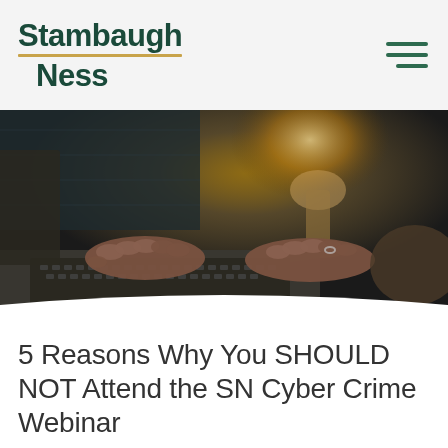[Figure (logo): Stambaugh Ness logo in dark green with gold underline beneath 'Stambaugh']
[Figure (photo): Close-up photograph of two hands typing on a laptop keyboard, with a blurred lamp in the background. Dark, moody lighting.]
5 Reasons Why You SHOULD NOT Attend the SN Cyber Crime Webinar